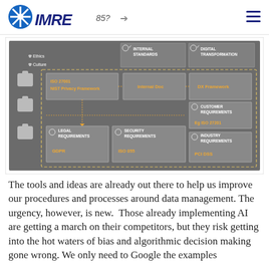IMRE
[Figure (infographic): A data governance/privacy framework diagram on a dark grey background. Left column shows icons with 'Ethics' and 'Culture' labels and three puzzle piece icons. Top row has sections: Internal Standards and Digital Transformation. A dashed rectangle encloses: ISO 27001, NIST Privacy Framework (linking via dotted arrows to Internal Doc and DX Framework). Inner sections: Legal Requirements (GDPR), Security Requirements (ISO 055), Industry Requirements (PCI DSS), Customer Requirements (Eg ISO 27201).]
The tools and ideas are already out there to help us improve our procedures and processes around data management. The urgency, however, is new.  Those already implementing AI are getting a march on their competitors, but they risk getting into the hot waters of bias and algorithmic decision making gone wrong. We only need to Google the examples